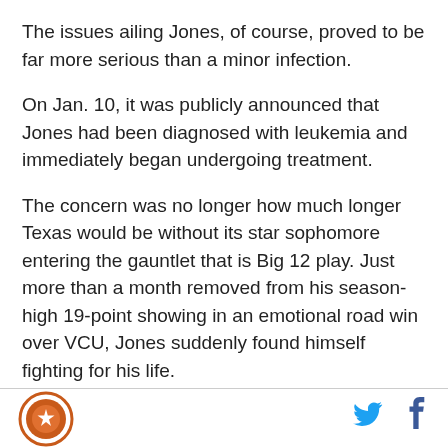The issues ailing Jones, of course, proved to be far more serious than a minor infection.
On Jan. 10, it was publicly announced that Jones had been diagnosed with leukemia and immediately began undergoing treatment.
The concern was no longer how much longer Texas would be without its star sophomore entering the gauntlet that is Big 12 play. Just more than a month removed from his season-high 19-point showing in an emotional road win over VCU, Jones suddenly found himself fighting for his life.
“I was shocked,” Jones said. “I was just feeling like I
[logo] [twitter] [facebook]